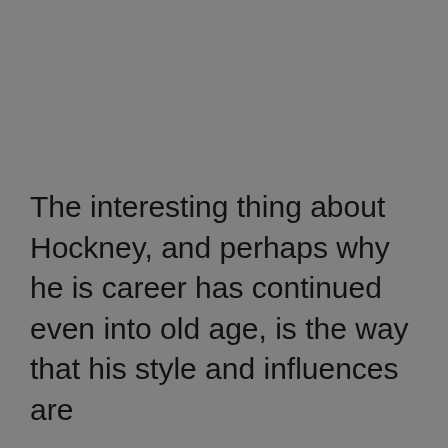[Figure (photo): Large grey/neutral background image occupying the upper two-thirds of the page]
The interesting thing about Hockney, and perhaps why he is career has continued even into old age, is the way that his style and influences are